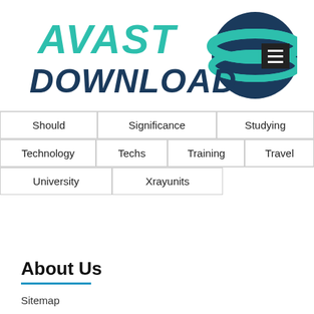[Figure (logo): AVAST DOWNLOAD logo with teal and dark blue italic bold text and a circular globe icon in teal and dark blue]
Should
Significance
Studying
Technology
Techs
Training
Travel
University
Xrayunits
About Us
Sitemap